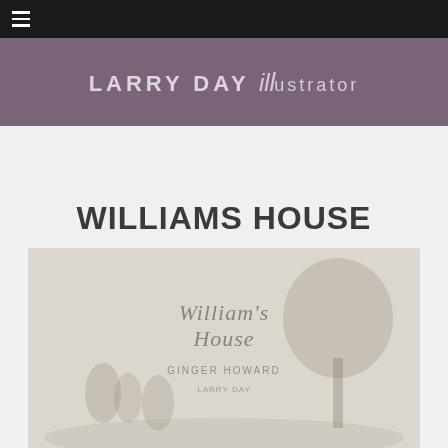☰
LARRY DAY illustrator
WILLIAMS HOUSE
[Figure (illustration): Book cover for William's House by Ginger Howard, illustrated by Larry Day. Shows a light wash illustration with figures and a tree, with the title 'William's House' and author name 'Ginger Howard' displayed on a pale, washed-out background.]